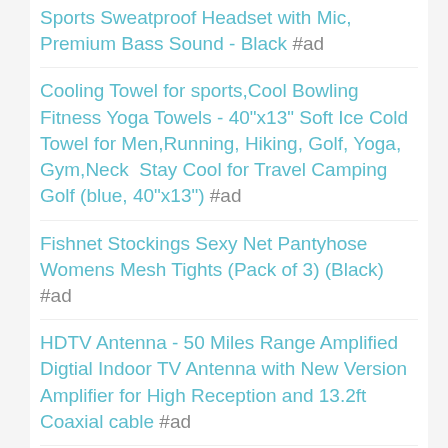Sports Sweatproof Headset with Mic, Premium Bass Sound - Black #ad
Cooling Towel for sports,Cool Bowling Fitness Yoga Towels - 40"x13" Soft Ice Cold Towel for Men,Running, Hiking, Golf, Yoga, Gym,Neck  Stay Cool for Travel Camping Golf (blue, 40"x13") #ad
Fishnet Stockings Sexy Net Pantyhose Womens Mesh Tights (Pack of 3) (Black) #ad
HDTV Antenna - 50 Miles Range Amplified Digtial Indoor TV Antenna with New Version Amplifier for High Reception and 13.2ft Coaxial cable #ad
HOPLYNN Sweat Vest for Women, Adjustable ...